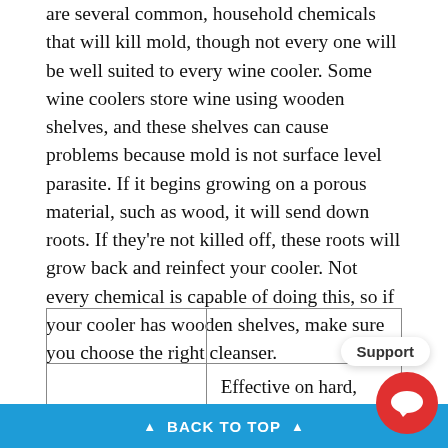are several common, household chemicals that will kill mold, though not every one will be well suited to every wine cooler. Some wine coolers store wine using wooden shelves, and these shelves can cause problems because mold is not surface level parasite. If it begins growing on a porous material, such as wood, it will send down roots. If they're not killed off, these roots will grow back and reinfect your cooler. Not every chemical is capable of doing this, so if your cooler has wooden shelves, make sure you choose the right cleanser.
|  |  |
| --- | --- |
| Bleach | Effective on hard, non-porous surfaces. Bleach is corrosive, s  Support in well-ventilated areas. Mix with water at a 1:1 ratio – 1 part bleach |
▲ BACK TO TOP ▲